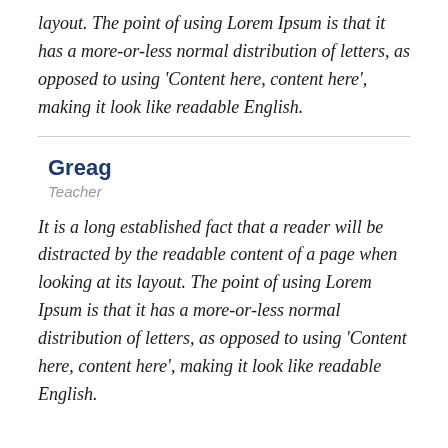layout. The point of using Lorem Ipsum is that it has a more-or-less normal distribution of letters, as opposed to using ‘Content here, content here’, making it look like readable English.
Greag
Teacher
It is a long established fact that a reader will be distracted by the readable content of a page when looking at its layout. The point of using Lorem Ipsum is that it has a more-or-less normal distribution of letters, as opposed to using ‘Content here, content here’, making it look like readable English.